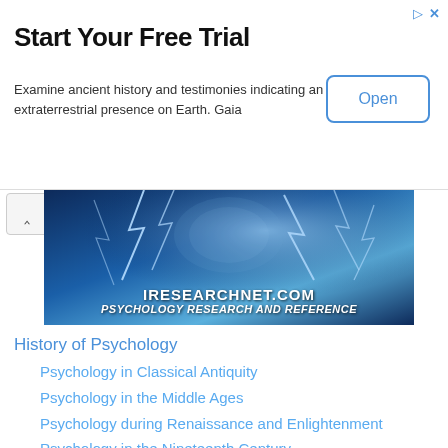[Figure (screenshot): Advertisement banner: Start Your Free Trial - Examine ancient history and testimonies indicating an extraterrestrial presence on Earth. Gaia. With Open button.]
[Figure (screenshot): iresearchnet.com banner image with lightning/brain imagery. Text: IRESEARCHNET.COM, PSYCHOLOGY RESEARCH AND REFERENCE]
History of Psychology
Psychology in Classical Antiquity
Psychology in the Middle Ages
Psychology during Renaissance and Enlightenment
Psychology in the Nineteenth Century
Psychology in the Early Twentieth Century
Psychology after World War II
Psychology in the 21st Century
Women and Minorities in Psychology
Conducting Research on the History of Psychology